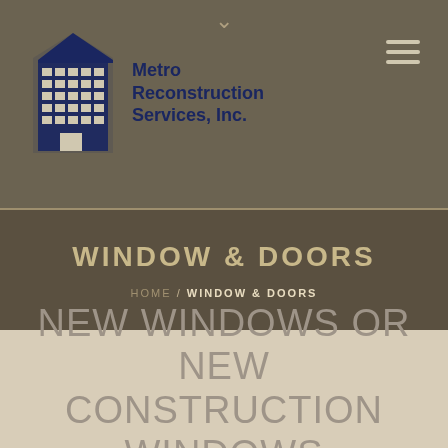[Figure (logo): Metro Reconstruction Services, Inc. building logo with gridded skyscraper icon in dark navy blue]
WINDOW & DOORS
HOME / WINDOW & DOORS
NEW WINDOWS OR NEW CONSTRUCTION WINDOWS